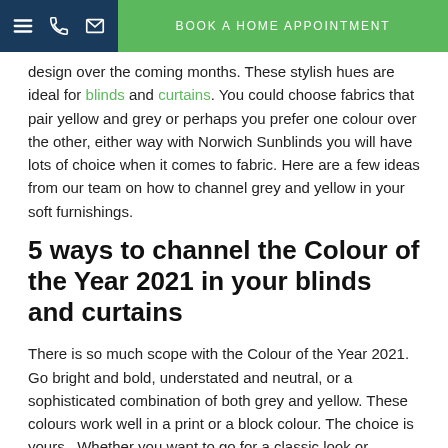≡  [phone]  [mail]   BOOK A HOME APPOINTMENT
design over the coming months. These stylish hues are ideal for blinds and curtains. You could choose fabrics that pair yellow and grey or perhaps you prefer one colour over the other, either way with Norwich Sunblinds you will have lots of choice when it comes to fabric. Here are a few ideas from our team on how to channel grey and yellow in your soft furnishings.
5 ways to channel the Colour of the Year 2021 in your blinds and curtains
There is so much scope with the Colour of the Year 2021. Go bright and bold, understated and neutral, or a sophisticated combination of both grey and yellow. These colours work well in a print or a block colour. The choice is yours.  Whether you want to go for a classic look or something more…